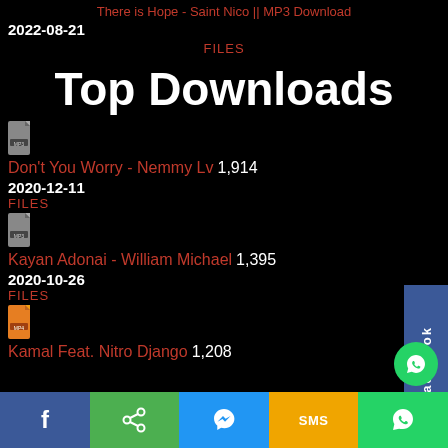There is Hope - Saint Nico || MP3 Download
2022-08-21
FILES
Top Downloads
Don't You Worry - Nemmy Lv 1,914
2020-12-11
FILES
Kayan Adonai - William Michael 1,395
2020-10-26
FILES
Kamal Feat. Nitro Django 1,208